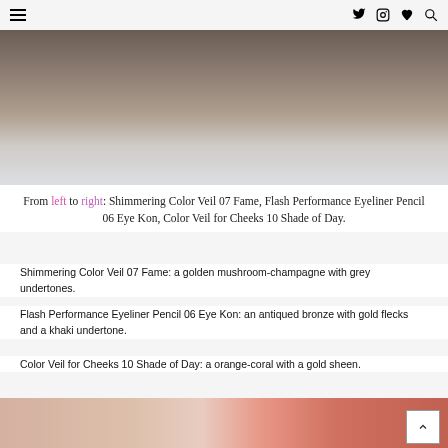Navigation header with hamburger menu, Twitter, Instagram, heart, and search icons
[Figure (photo): Top portion of a close-up photo showing cosmetic swatches on skin, partially cropped]
From left to right: Shimmering Color Veil 07 Fame, Flash Performance Eyeliner Pencil 06 Eye Kon, Color Veil for Cheeks 10 Shade of Day.
Shimmering Color Veil 07 Fame: a golden mushroom-champagne with grey undertones.
Flash Performance Eyeliner Pencil 06 Eye Kon: an antiqued bronze with gold flecks and a khaki undertone.
Color Veil for Cheeks 10 Shade of Day: a orange-coral with a gold sheen.
[Figure (photo): Bottom portion showing cosmetic swatches on skin — beige/champagne on left, orange-coral on right, with a back-to-top button overlay]